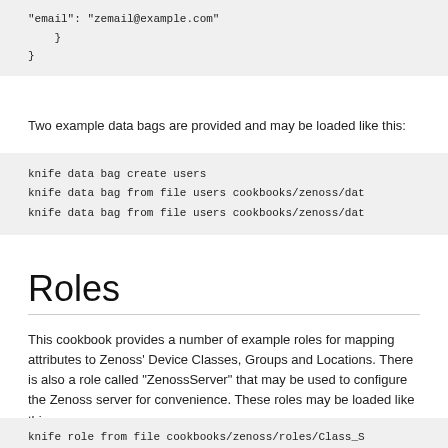[Figure (screenshot): Code block showing JSON closing braces: '"email": "zemail@example.com"' followed by closing braces]
Two example data bags are provided and may be loaded like this:
[Figure (screenshot): Code block showing knife commands: 'knife data bag create users', 'knife data bag from file users cookbooks/zenoss/dat', 'knife data bag from file users cookbooks/zenoss/dat']
Roles
This cookbook provides a number of example roles for mapping attributes to Zenoss' Device Classes, Groups and Locations. There is also a role called "ZenossServer" that may be used to configure the Zenoss server for convenience. These roles may be loaded like this:
[Figure (screenshot): Code block showing: 'knife role from file cookbooks/zenoss/roles/Class_S']